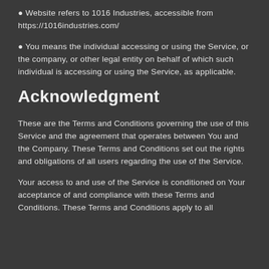Website refers to 1016 Industries, accessible from https://1016industries.com/
You means the individual accessing or using the Service, or the company, or other legal entity on behalf of which such individual is accessing or using the Service, as applicable.
Acknowledgment
These are the Terms and Conditions governing the use of this Service and the agreement that operates between You and the Company. These Terms and Conditions set out the rights and obligations of all users regarding the use of the Service.
Your access to and use of the Service is conditioned on Your acceptance of and compliance with these Terms and Conditions. These Terms and Conditions apply to all